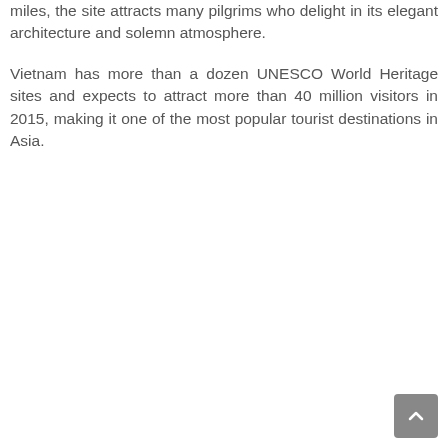miles, the site attracts many pilgrims who delight in its elegant architecture and solemn atmosphere.
Vietnam has more than a dozen UNESCO World Heritage sites and expects to attract more than 40 million visitors in 2015, making it one of the most popular tourist destinations in Asia.